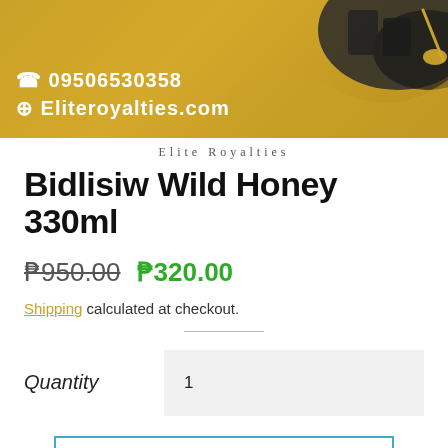[Figure (illustration): Golden/olive colored banner with phone number 09506530358, website Eliteroyalties.com, and decorative product imagery (honey jars and dipper) on the right side]
Elite Royalties
Bidlisiw Wild Honey 330ml
₱950.00  ₱320.00
Shipping calculated at checkout.
Quantity  1
ADD TO CART